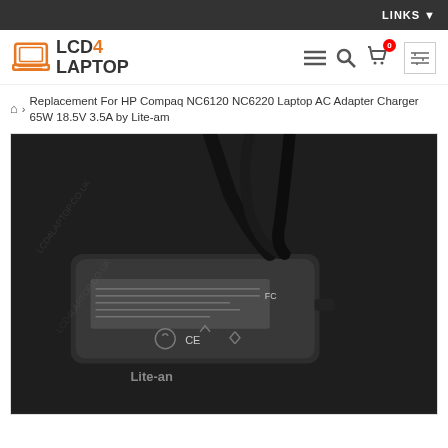LINKS ▼
[Figure (logo): LCD4LAPTOP logo with orange laptop icon and bold text]
Breadcrumb navigation: Home > Replacement For HP Compaq NC6120 NC6220 Laptop AC Adapter Charger 65W 18.5V 3.5A by Lite-am
[Figure (photo): Product photo of a black Lite-an laptop AC adapter/charger with cables, showing CE and FC certification marks on the label]